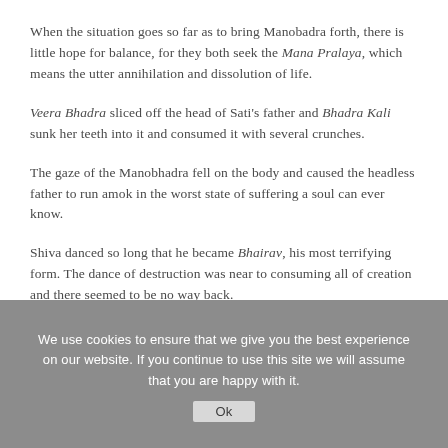When the situation goes so far as to bring Manobadra forth, there is little hope for balance, for they both seek the Mana Pralaya, which means the utter annihilation and dissolution of life.
Veera Bhadra sliced off the head of Sati's father and Bhadra Kali sunk her teeth into it and consumed it with several crunches.
The gaze of the Manobhadra fell on the body and caused the headless father to run amok in the worst state of suffering a soul can ever know.
Shiva danced so long that he became Bhairav, his most terrifying form. The dance of destruction was near to consuming all of creation and there seemed to be no way back.
We use cookies to ensure that we give you the best experience on our website. If you continue to use this site we will assume that you are happy with it. Ok